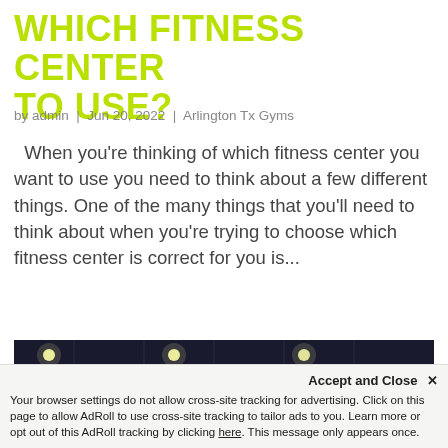WHICH FITNESS CENTER TO USE?
by admin | Jun 20, 2022 | Arlington Tx Gyms
When you're thinking of which fitness center you want to use you need to think about a few different things. One of the many things that you'll need to think about when you're trying to choose which fitness center is correct for you is...
[Figure (photo): Interior of a fitness center with dark ceiling and recessed lights, showing motivational words on the wall including 'purpose', 'strong', 'press on', and a yellow-green exercise ball visible on the left]
Accept and Close ✕
Your browser settings do not allow cross-site tracking for advertising. Click on this page to allow AdRoll to use cross-site tracking to tailor ads to you. Learn more or opt out of this AdRoll tracking by clicking here. This message only appears once.